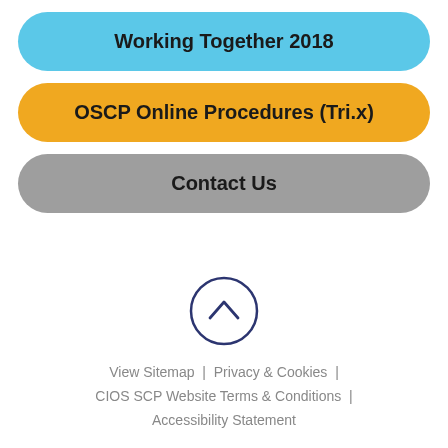Working Together 2018
OSCP Online Procedures (Tri.x)
Contact Us
[Figure (illustration): Up arrow icon inside a circle, used as a scroll-to-top button]
View Sitemap  |  Privacy & Cookies  |  CIOS SCP Website Terms & Conditions  |  Accessibility Statement
Website by Taylorfitch